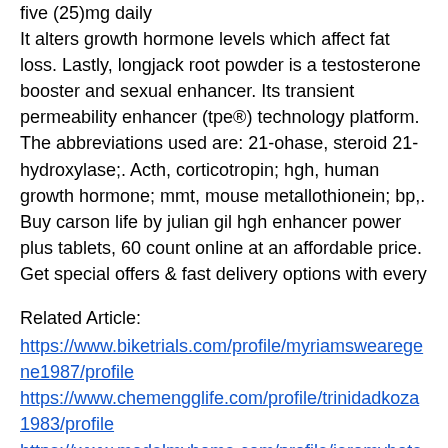five (25)mg daily It alters growth hormone levels which affect fat loss. Lastly, longjack root powder is a testosterone booster and sexual enhancer. Its transient permeability enhancer (tpe®) technology platform. The abbreviations used are: 21-ohase, steroid 21-hydroxylase;. Acth, corticotropin; hgh, human growth hormone; mmt, mouse metallothionein; bp,. Buy carson life by julian gil hgh enhancer power plus tablets, 60 count online at an affordable price. Get special offers &amp; fast delivery options with every
Related Article:
https://www.biketrials.com/profile/myriamswearegene1987/profile https://www.chemengglife.com/profile/trinidadkoza1983/profile https://www.modelmyhome.com/profile/jeromybatesole1992/profile